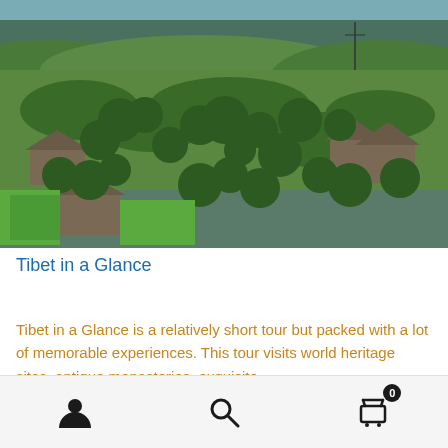[Figure (photo): Aerial view of a Tibetan village with traditional wooden houses nestled among green trees and fields, with a lake and mountains visible in the background.]
Tibet in a Glance
Tibet in a Glance is a relatively short tour but packed with a lot of memorable experiences. This tour visits world heritage sites, antique monasteries, exquisite
User icon | Search icon | Cart icon (0)